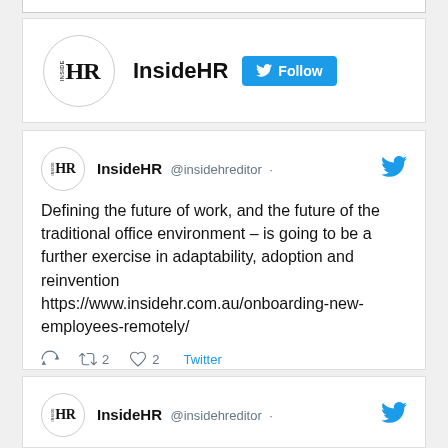[Figure (screenshot): InsideHR Twitter/X profile header with circular logo and Follow button]
[Figure (screenshot): Tweet from @insidehreditor: Defining the future of work, and the future of the traditional office environment – is going to be a further exercise in adaptability, adoption and reinvention https://www.insidehr.com.au/onboarding-new-employees-remotely/ | 2 retweets, 2 likes]
[Figure (screenshot): Tweet from @insidehreditor: The worst pandemic in a century didn't (truncated)]